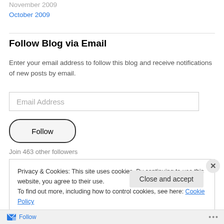October 2009
Follow Blog via Email
Enter your email address to follow this blog and receive notifications of new posts by email.
Email Address
Follow
Join 463 other followers
Privacy & Cookies: This site uses cookies. By continuing to use this website, you agree to their use.
To find out more, including how to control cookies, see here: Cookie Policy
Close and accept
Follow ...